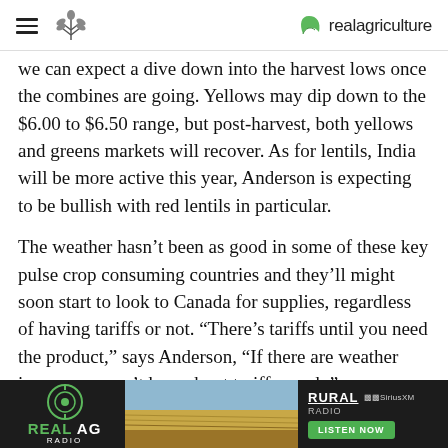realagriculture
we can expect a dive down into the harvest lows once the combines are going. Yellows may dip down to the $6.00 to $6.50 range, but post-harvest, both yellows and greens markets will recover. As for lentils, India will be more active this year, Anderson is expecting to be bullish with red lentils in particular.
The weather hasn't been as good in some of these key pulse crop consuming countries and they'll might soon start to look to Canada for supplies, regardless of having tariffs or not. “There’s tariffs until you need the product,” says Anderson, “If there are weather issues, we won’t hear about tariffs much.”
[Figure (other): Real AG Radio advertisement banner with Rural Radio and SiriusXM branding, Listen Now button, and field imagery]